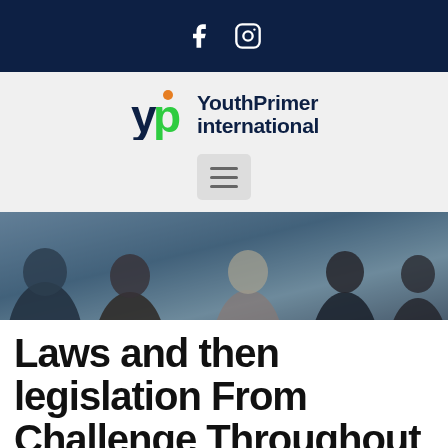Facebook Instagram social icons
[Figure (logo): YouthPrimer international logo with 'yp' icon in green/orange and bold navy text]
[Figure (other): Hamburger menu button icon]
[Figure (photo): Photo of several young people gathered together, looking down, in a discussion or study group setting]
Laws and then legislation From Challenge Throughout Islamic Jihad